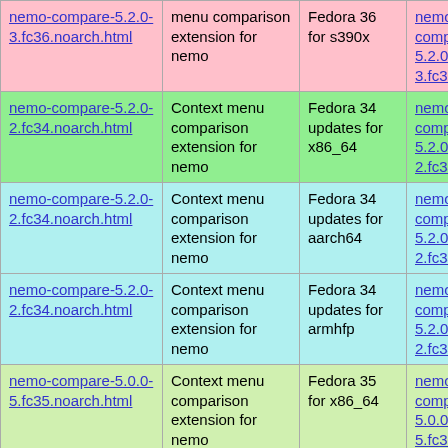| nemo-compare-5.2.0-3.fc36.noarch.html | menu comparison extension for nemo | Fedora 36 for s390x | nemo-compare-5.2.0-3.fc36.noarch.rpm |
| nemo-compare-5.2.0-2.fc34.noarch.html | Context menu comparison extension for nemo | Fedora 34 updates for x86_64 | nemo-compare-5.2.0-2.fc34.noarch.rpm |
| nemo-compare-5.2.0-2.fc34.noarch.html | Context menu comparison extension for nemo | Fedora 34 updates for aarch64 | nemo-compare-5.2.0-2.fc34.noarch.rpm |
| nemo-compare-5.2.0-2.fc34.noarch.html | Context menu comparison extension for nemo | Fedora 34 updates for armhfp | nemo-compare-5.2.0-2.fc34.noarch.rpm |
| nemo-compare-5.0.0-5.fc35.noarch.html | Context menu comparison extension for nemo | Fedora 35 for x86_64 | nemo-compare-5.0.0-5.fc35.noarch.rpm |